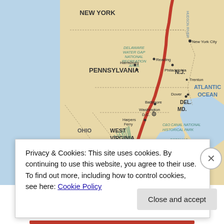[Figure (map): A map of the eastern United States showing a red trail route running north-south through New York, New Jersey, Pennsylvania, Maryland, West Virginia, and Virginia. States labeled include New York, N.J., Pennsylvania, Ohio, West Virginia, Virginia, Del., and MD. Cities marked include New York City, Trenton, Reading, Philadelphia, Harrisburg, Baltimore, Dover, Washington D.C., Harpers Ferry, Richmond. National parks and areas labeled include Delaware Water Gap National Recreation Area, C&O Canal National Historical Park, Potomac River, Shenandoah National Park, George Washington National Forest. Atlantic Ocean is labeled to the right.]
Privacy & Cookies: This site uses cookies. By continuing to use this website, you agree to their use.
To find out more, including how to control cookies, see here: Cookie Policy
Close and accept